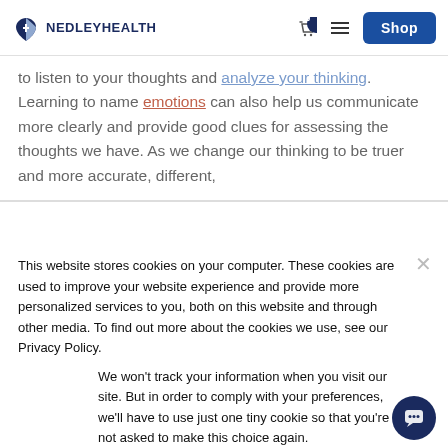NEDLEY HEALTH — Shop
to listen to your thoughts and analyze your thinking. Learning to name emotions can also help us communicate more clearly and provide good clues for assessing the thoughts we have. As we change our thinking to be truer and more accurate, different,
This website stores cookies on your computer. These cookies are used to improve your website experience and provide more personalized services to you, both on this website and through other media. To find out more about the cookies we use, see our Privacy Policy.
We won't track your information when you visit our site. But in order to comply with your preferences, we'll have to use just one tiny cookie so that you're not asked to make this choice again.